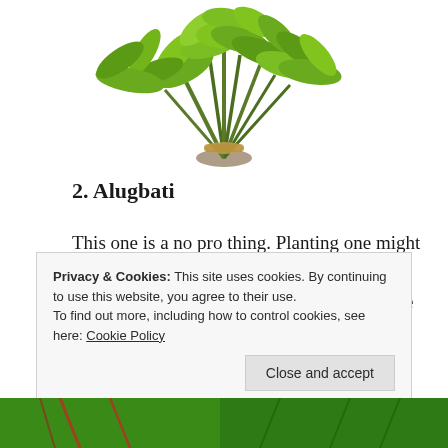[Figure (photo): A bunch of fresh green leafy vegetables (Alugbati / Malabar spinach) tied together, on a white background, viewed from above, cropped at top]
2. Alugbati
This one is a no pro thing. Planting one might not require a lot of fertilizer and other maintenance stuff unless they become a little crowded – just do pruning.
Privacy & Cookies: This site uses cookies. By continuing to use this website, you agree to their use.
To find out more, including how to control cookies, see here: Cookie Policy
Close and accept
[Figure (photo): Bottom partial strip showing green and red leafy vegetables, cropped]